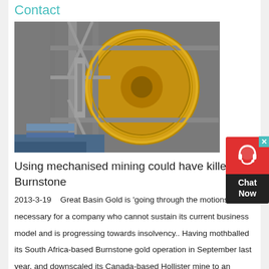Contact
[Figure (photo): Industrial mining equipment — large yellow cylindrical ball mill or grinding drum mounted on a steel frame structure, photographed indoors at a mining facility.]
Using mechanised mining could have killed Burnstone
2013-3-19    Great Basin Gold is 'going through the motions' necessary for a company who cannot sustain its current business model and is progressing towards insolvency.. Having mothballed its South Africa-based Burnstone gold operation in September last year, and downscaled its Canada-based Hollister mine to an insignificant three year lifespan operation, it has no alternative